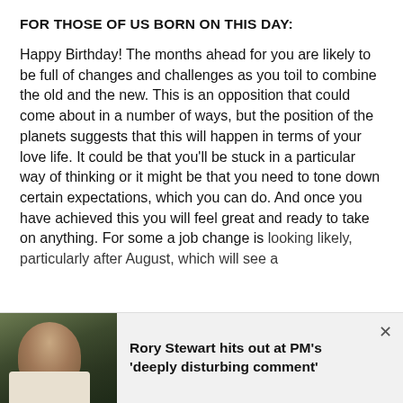FOR THOSE OF US BORN ON THIS DAY:
Happy Birthday! The months ahead for you are likely to be full of changes and challenges as you toil to combine the old and the new. This is an opposition that could come about in a number of ways, but the position of the planets suggests that this will happen in terms of your love life. It could be that you’ll be stuck in a particular way of thinking or it might be that you need to tone down certain expectations, which you can do. And once you have achieved this you will feel great and ready to take on anything. For some a job change is looking likely, particularly after August, which will see a
[Figure (photo): Photo of Rory Stewart, a man with dark hair, outdoors with greenery in background]
Rory Stewart hits out at PM's 'deeply disturbing comment'